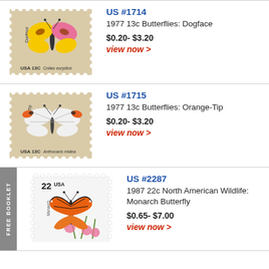[Figure (photo): US stamp #1714 - 1977 13c Butterflies: Dogface (Colias eurydice), beige stamp with colorful butterfly]
US #1714
1977 13c Butterflies: Dogface
$0.20- $3.20
view now >
[Figure (photo): US stamp #1715 - 1977 13c Butterflies: Orange-Tip (Anthocaris midea), beige stamp with white butterfly with orange tips]
US #1715
1977 13c Butterflies: Orange-Tip
$0.20- $3.20
view now >
[Figure (photo): US stamp #2287 - 1987 22c North American Wildlife: Monarch Butterfly, white stamp with monarch butterfly on flowers]
US #2287
1987 22c North American Wildlife: Monarch Butterfly
$0.65- $7.00
view now >